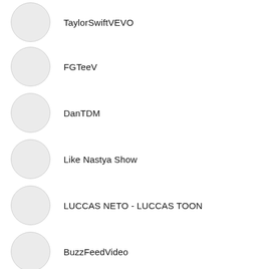TaylorSwiftVEVO
FGTeeV
DanTDM
Like Nastya Show
LUCCAS NETO - LUCCAS TOON
BuzzFeedVideo